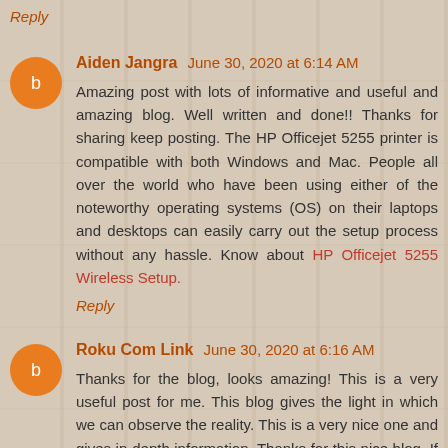Reply
Aiden Jangra June 30, 2020 at 6:14 AM
Amazing post with lots of informative and useful and amazing blog. Well written and done!! Thanks for sharing keep posting. The HP Officejet 5255 printer is compatible with both Windows and Mac. People all over the world who have been using either of the noteworthy operating systems (OS) on their laptops and desktops can easily carry out the setup process without any hassle. Know about HP Officejet 5255 Wireless Setup.
Reply
Roku Com Link June 30, 2020 at 6:16 AM
Thanks for the blog, looks amazing! This is a very useful post for me. This blog gives the light in which we can observe the reality. This is a very nice one and gives in-depth information. Thanks for this nice blog. If any of the above solutions do not work then it's time to reset your